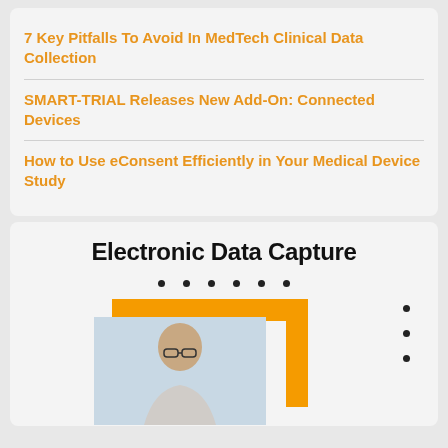7 Key Pitfalls To Avoid In MedTech Clinical Data Collection
SMART-TRIAL Releases New Add-On: Connected Devices
How to Use eConsent Efficiently in Your Medical Device Study
Electronic Data Capture
[Figure (illustration): Illustration of a person with glasses in front of an orange bracket/frame graphic with decorative dot grid pattern]